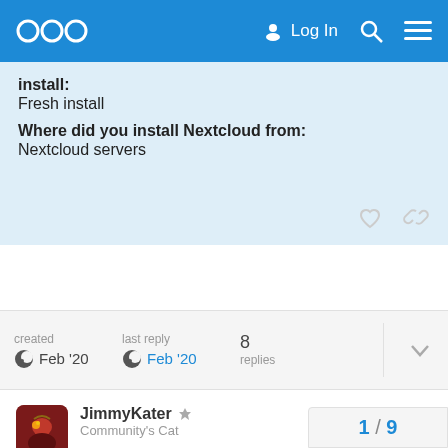Nextcloud community forum header with logo, Log In, search, and menu icons
install:
Fresh install
Where did you install Nextcloud from:
Nextcloud servers
created  Feb '20    last reply  Feb '20    8 replies
JimmyKater  Community's Cat    Feb '20
which permissions are set on those 2 directories? and who owns them?
1 / 9